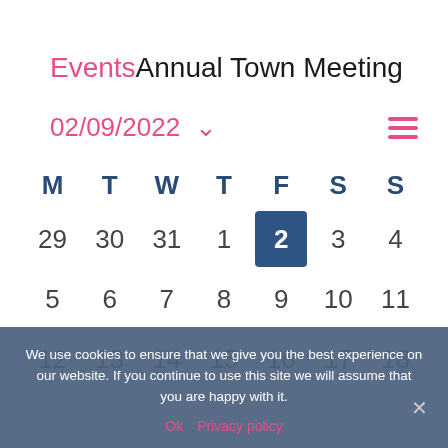EventsAnnual Town Meeting
02/09/2022 ∨
[Figure (screenshot): Calendar view showing February 2022 with day 2 highlighted in dark blue. Days of week: M T W T F S S. Rows: 29 30 31 1 [2] 3 4; 5 6 7 8 9 10 11; 12 13 14 15 16 17 18]
We use cookies to ensure that we give you the best experience on our website. If you continue to use this site we will assume that you are happy with it.
Ok  Privacy policy